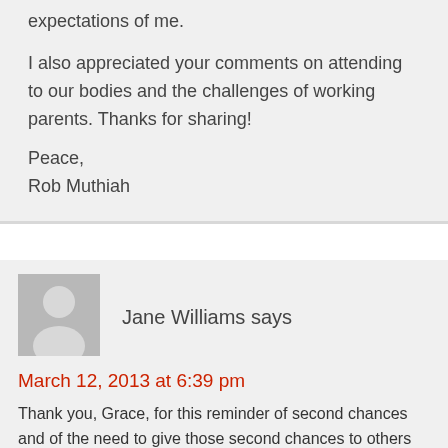expectations of me.
I also appreciated your comments on attending to our bodies and the challenges of working parents. Thanks for sharing!
Peace,
Rob Muthiah
[Figure (illustration): Gray avatar placeholder icon of a person silhouette]
Jane Williams says
March 12, 2013 at 6:39 pm
Thank you, Grace, for this reminder of second chances and of the need to give those second chances to others and ourselves. I have received so many second chances in my life, and am grateful. God reminds me frequently of the graces of second chances and I hope that I am grace-full enough to remember to offer second chances to others. I love what the airlines "emergency procedures" message says – before trying to help someone else with an oxygen mask, be sure to put your own on first. Sounds initially selfish, but makes ultimate sense.